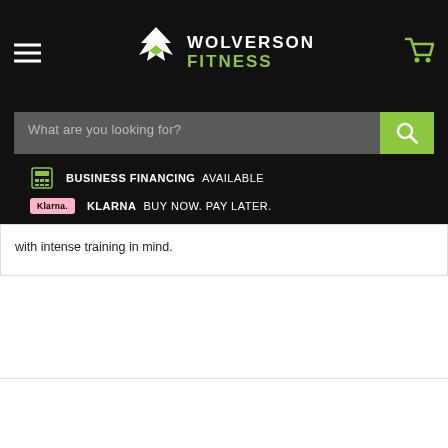Wolverson Fitness
What are you looking for?
BUSINESS FINANCING  AVAILABLE
KLARNA  BUY NOW. PAY LATER.
with intense training in mind.
YOU MAY ALSO LIKE